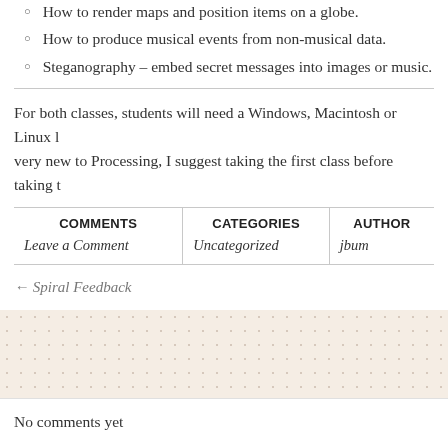How to render maps and position items on a globe.
How to produce musical events from non-musical data.
Steganography – embed secret messages into images or music.
For both classes, students will need a Windows, Macintosh or Linux … very new to Processing, I suggest taking the first class before taking t…
| COMMENTS | CATEGORIES | AUTHOR |
| --- | --- | --- |
| Leave a Comment | Uncategorized | jbum |
← Spiral Feedback
No comments yet